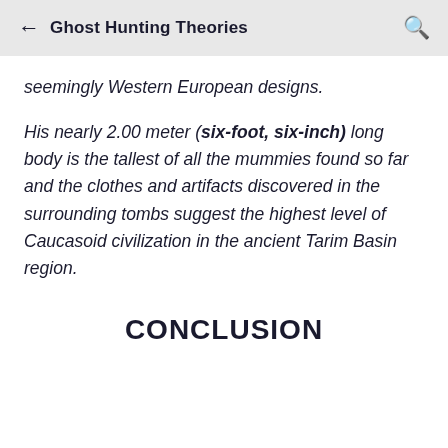Ghost Hunting Theories
seemingly Western European designs.
His nearly 2.00 meter (six-foot, six-inch) long body is the tallest of all the mummies found so far and the clothes and artifacts discovered in the surrounding tombs suggest the highest level of Caucasoid civilization in the ancient Tarim Basin region.
CONCLUSION